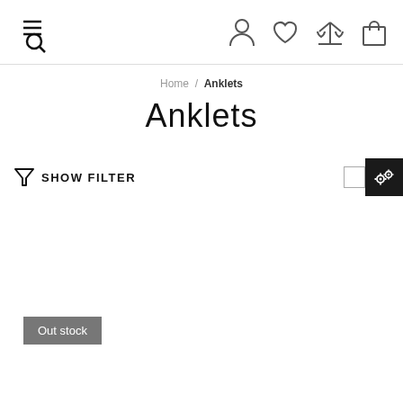Navigation bar with menu/search, user, wishlist, compare, cart icons
Home / Anklets
Anklets
SHOW FILTER
Out stock